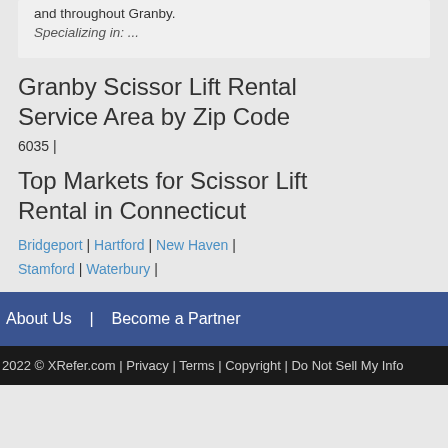and throughout Granby.
Specializing in: ...
Granby Scissor Lift Rental Service Area by Zip Code
6035 |
Top Markets for Scissor Lift Rental in Connecticut
Bridgeport | Hartford | New Haven | Stamford | Waterbury |
About Us | Become a Partner
2022 © XRefer.com | Privacy | Terms | Copyright | Do Not Sell My Info